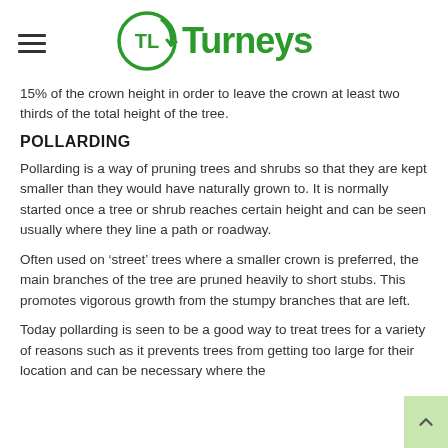Turneys
15% of the crown height in order to leave the crown at least two thirds of the total height of the tree.
POLLARDING
Pollarding is a way of pruning trees and shrubs so that they are kept smaller than they would have naturally grown to. It is normally started once a tree or shrub reaches certain height and can be seen usually where they line a path or roadway.
Often used on ‘street’ trees where a smaller crown is preferred, the main branches of the tree are pruned heavily to short stubs. This promotes vigorous growth from the stumpy branches that are left.
Today pollarding is seen to be a good way to treat trees for a variety of reasons such as it prevents trees from getting too large for their location and can be necessary where the